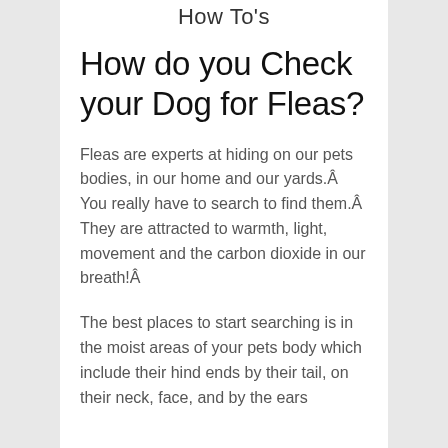How To's
How do you Check your Dog for Fleas?
Fleas are experts at hiding on our pets bodies, in our home and our yards.Â You really have to search to find them.Â  They are attracted to warmth, light, movement and the carbon dioxide in our breath!Â
The best places to start searching is in the moist areas of your pets body which include their hind ends by their tail, on their neck, face, and by the ears